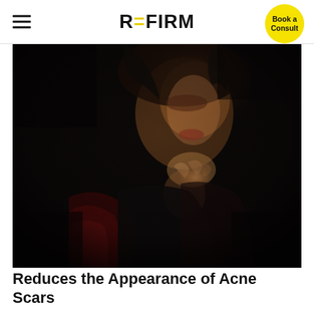REFIRM
[Figure (photo): Dark dramatic portrait of a young woman with dark hair touching her neck/collarbone area, wearing a dark outfit with a dark red jacket, against a nearly black background, face partially lit.]
Reduces the Appearance of Acne Scars